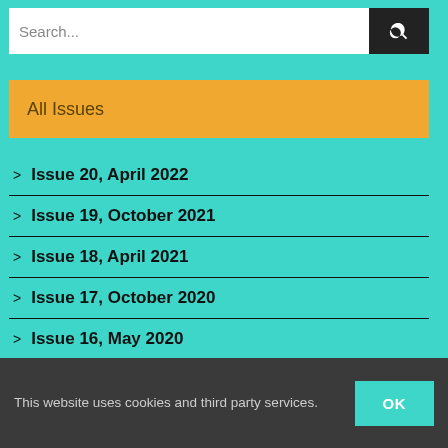Search...
All Issues
> Issue 20, April 2022
> Issue 19, October 2021
> Issue 18, April 2021
> Issue 17, October 2020
> Issue 16, May 2020
This website uses cookies and third party services.